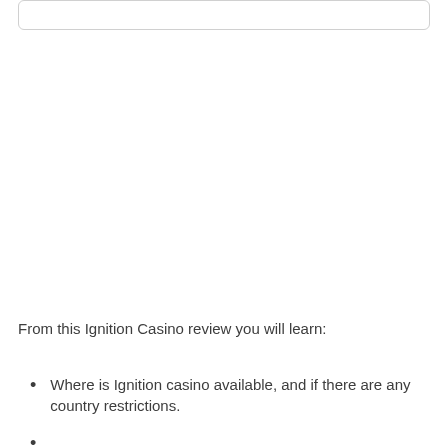From this Ignition Casino review you will learn:
Where is Ignition casino available, and if there are any country restrictions.
...